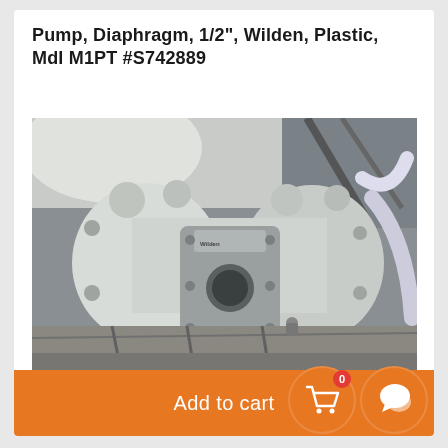Pump, Diaphragm, 1/2", Wilden, Plastic, Mdl M1PT #S742889
[Figure (photo): Photograph of a Wilden plastic diaphragm pump model M1PT, white plastic body with grey center section, mounted on a surface with hoses and metal framework visible in background.]
Add to cart